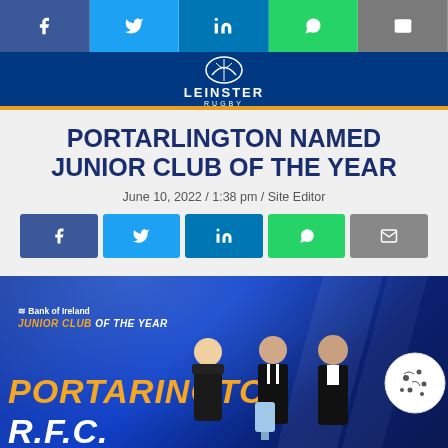Leinster Rugby - navigation bar with social share icons (Facebook, Twitter, LinkedIn, WhatsApp, Email)
[Figure (logo): Leinster Rugby logo on dark blue header bar with gold bottom border]
PORTARLINGTON NAMED JUNIOR CLUB OF THE YEAR
June 10, 2022 / 1:38 pm / Site Editor
Social share buttons: Facebook, Twitter, LinkedIn, WhatsApp, Email
[Figure (photo): Award ceremony photo showing three people receiving the Bank of Ireland Junior Club of the Year award for Portarlington RFC on a blue-lit stage]